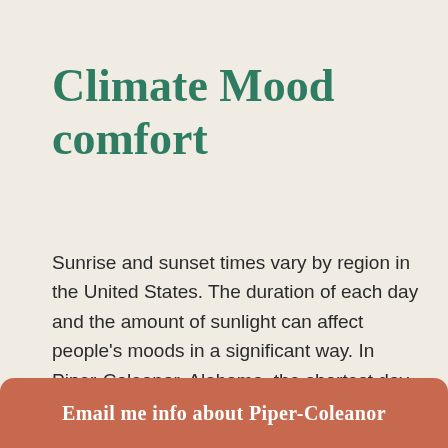Climate Mood comfort
Sunrise and sunset times vary by region in the United States. The duration of each day and the amount of sunlight can affect people's moods in a significant way. In Piper-Coleanor, Alabama, the shortest day starts at 07:06 a.m. and ends at 04:40 p.m. and lasts for 9 hours 57 minutes. The longest day starts at 05:38 a.m. and ends at 08:00 p.m. and lasts for 14 hours 19 minutes.
Email me info about Piper-Coleanor